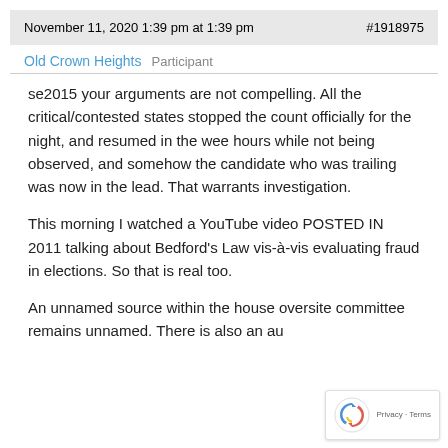November 11, 2020 1:39 pm at 1:39 pm  #1918975
Old Crown Heights  Participant
se2015 your arguments are not compelling. All the critical/contested states stopped the count officially for the night, and resumed in the wee hours while not being observed, and somehow the candidate who was trailing was now in the lead. That warrants investigation.

This morning I watched a YouTube video POSTED IN 2011 talking about Bedford's Law vis-à-vis evaluating fraud in elections. So that is real too.

An unnamed source within the house oversite committee remains unnamed. There is also an au…